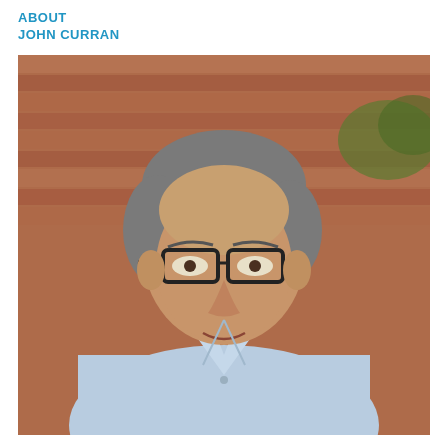ABOUT
JOHN CURRAN
[Figure (photo): Portrait photograph of John Curran, a middle-aged man with gray hair wearing dark-rimmed glasses and a light blue button-up shirt, photographed outdoors in front of a brick wall background.]